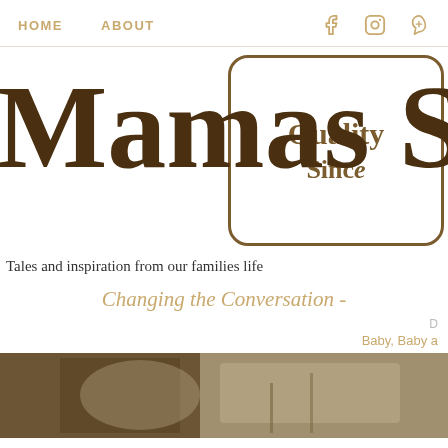HOME   ABOUT   [Facebook icon]   [Instagram icon]   [Pinterest icon]
[Figure (logo): Mamas Sp... logo with cursive brown text and a rounded rectangle stamp reading 'Quality... Since...']
Tales and inspiration from our families life
Changing the Conversation -
D...
Baby, Baby a...
[Figure (photo): Partial photo of a baby or infant scene with brown/tan tones, dark furniture visible]